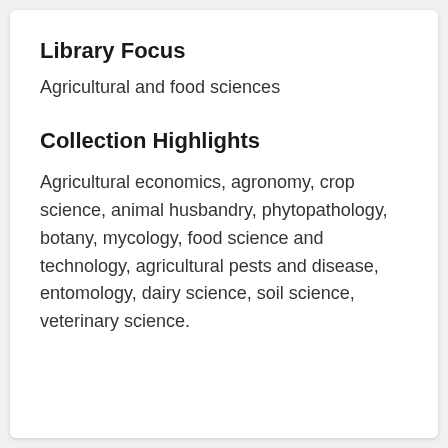Library Focus
Agricultural and food sciences
Collection Highlights
Agricultural economics, agronomy, crop science, animal husbandry, phytopathology, botany, mycology, food science and technology, agricultural pests and disease, entomology, dairy science, soil science, veterinary science.